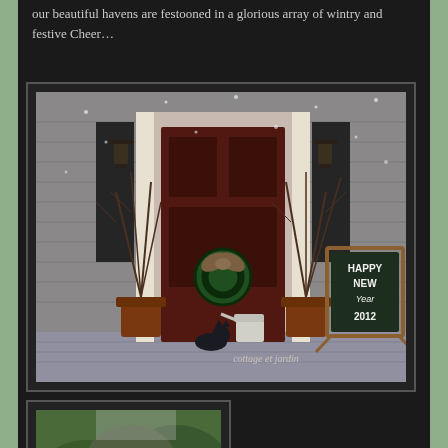our beautiful havens are festooned in a glorious array of wintry and festive Cheer…
[Figure (photo): Front porch of a house decorated for New Year's 2012. There is a dark red/brown door with a wreath and burlap bow. Bare branches in pots flank the door. A chalkboard sign reads 'HAPPY NEW Year 2012'. A black cat is visible near the steps. Snow is falling.]
[Figure (photo): A street lamp post decorated with a colorful striped bow with green foliage/bushes in the background.]